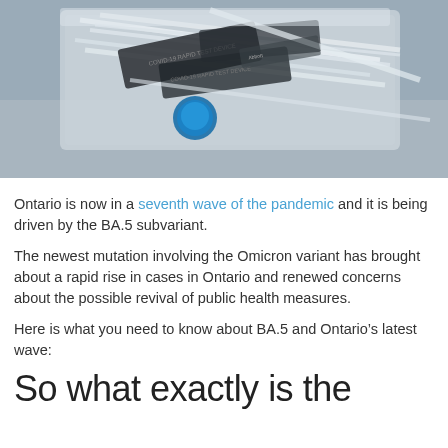[Figure (photo): COVID-19 rapid antigen test kits and swabs in a plastic container, viewed from above at an angle. White swabs and test kits with labels visible including 'COVID-19 RAPID TEST DEVICE'.]
Ontario is now in a seventh wave of the pandemic and it is being driven by the BA.5 subvariant.
The newest mutation involving the Omicron variant has brought about a rapid rise in cases in Ontario and renewed concerns about the possible revival of public health measures.
Here is what you need to know about BA.5 and Ontario’s latest wave:
So what exactly is the